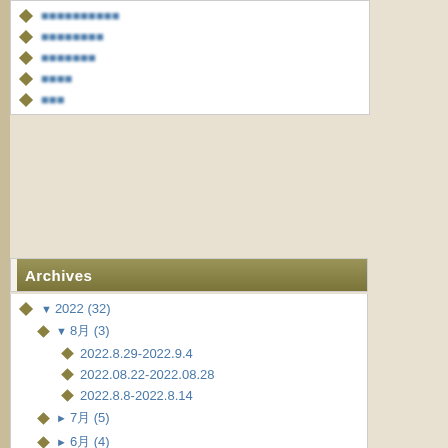[blurred text]
[blurred text]
[blurred text]
[blurred text]
[blurred text]
Archives
▼ 2022 (32)
▼ 8月 (3)
2022.8.29-2022.9.4
2022.08.22-2022.08.28
2022.8.8-2022.8.14
► 7月 (5)
► 6月 (4)
► 5月 (4)
► 4月 (4)
► 3月 (4)
► 2月 (4)
► 1月 (4)
► 2021 (46)
► 2020 (46)